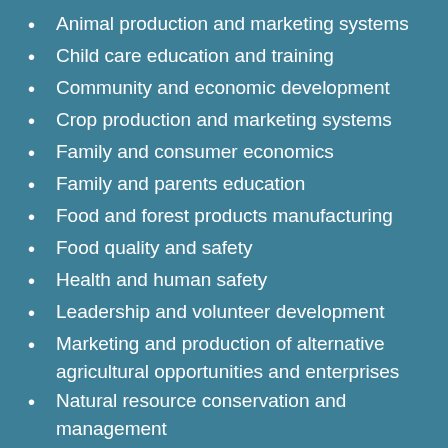Animal production and marketing systems
Child care education and training
Community and economic development
Crop production and marketing systems
Family and consumer economics
Family and parents education
Food and forest products manufacturing
Food quality and safety
Health and human safety
Leadership and volunteer development
Marketing and production of alternative agricultural opportunities and enterprises
Natural resource conservation and management
Nutrition and wellness
Residential and community horticulture, forestry and pest management
Residential and community water and